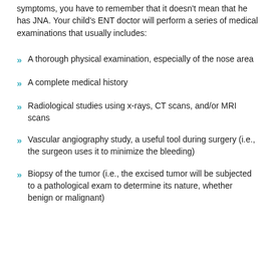symptoms, you have to remember that it doesn't mean that he has JNA. Your child's ENT doctor will perform a series of medical examinations that usually includes:
A thorough physical examination, especially of the nose area
A complete medical history
Radiological studies using x-rays, CT scans, and/or MRI scans
Vascular angiography study, a useful tool during surgery (i.e., the surgeon uses it to minimize the bleeding)
Biopsy of the tumor (i.e., the excised tumor will be subjected to a pathological exam to determine its nature, whether benign or malignant)